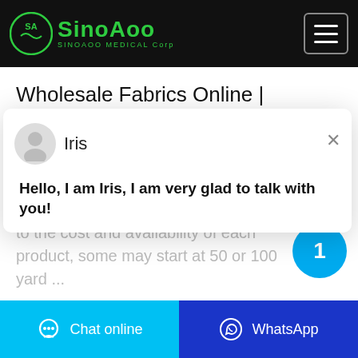SinoAoo SINOAOO MEDICAL Corp
Wholesale Fabrics Online | Wholesale Cloth | Discount Bulk ...
Wholesale Fashion Fabrics are sold by the yard at a discount. Both fashion and purchases for wholesale pricing vary, with many beginning at 20 yards. Due to the cost and availability of each product, some may start at 50 or 100 yard ...
Iris
Hello, I am Iris, I am very glad to talk with you!
Chat online   WhatsApp